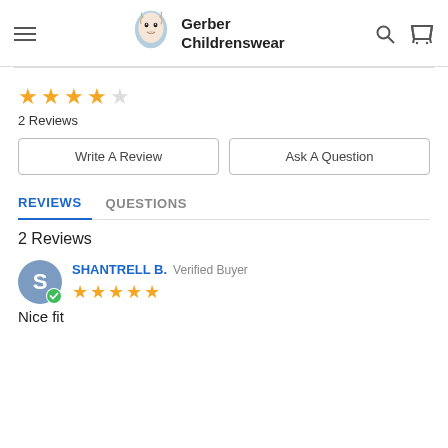Gerber Childrenswear
★★★★☆
2 Reviews
Write A Review | Ask A Question
REVIEWS  QUESTIONS
2 Reviews
SHANTRELL B. Verified Buyer ★★★★★
Nice fit